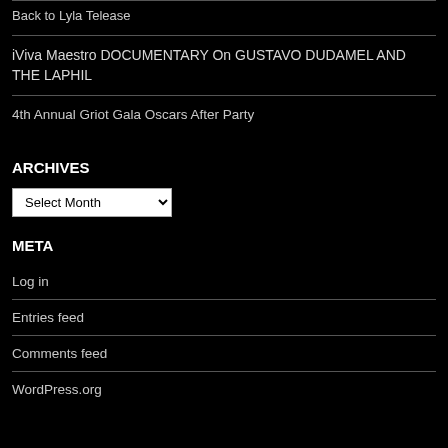Back to Lyla Telease
iViva Maestro DOCUMENTARY On GUSTAVO DUDAMEL AND THE LAPHIL
4th Annual Griot Gala Oscars After Party
ARCHIVES
Select Month (dropdown)
META
Log in
Entries feed
Comments feed
WordPress.org